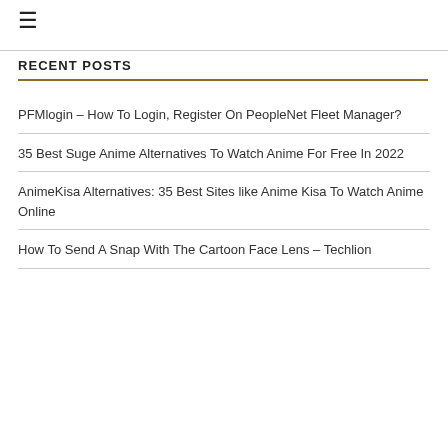RECENT POSTS
PFMlogin – How To Login, Register On PeopleNet Fleet Manager?
35 Best Suge Anime Alternatives To Watch Anime For Free In 2022
AnimeKisa Alternatives: 35 Best Sites like Anime Kisa To Watch Anime Online
How To Send A Snap With The Cartoon Face Lens – Techlion